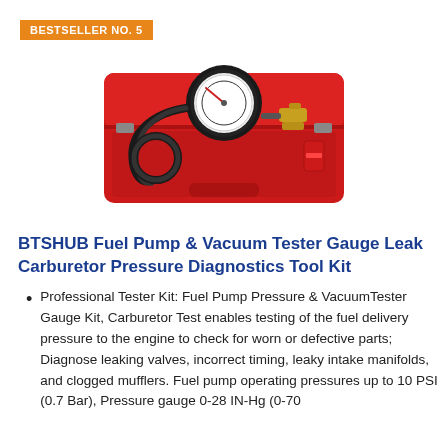BESTSELLER NO. 5
[Figure (photo): Red plastic carrying case open, containing a fuel pump and vacuum tester gauge kit with a pressure gauge and hose.]
BTSHUB Fuel Pump & Vacuum Tester Gauge Leak Carburetor Pressure Diagnostics Tool Kit
Professional Tester Kit: Fuel Pump Pressure & VacuumTester Gauge Kit, Carburetor Test enables testing of the fuel delivery pressure to the engine to check for worn or defective parts; Diagnose leaking valves, incorrect timing, leaky intake manifolds, and clogged mufflers. Fuel pump operating pressures up to 10 PSI (0.7 Bar), Pressure gauge 0-28 IN-Hg (0-70